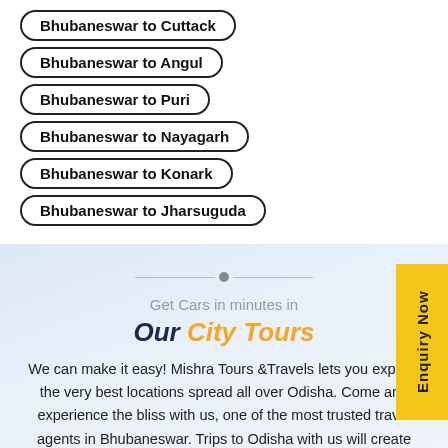Bhubaneswar to Cuttack
Bhubaneswar to Angul
Bhubaneswar to Puri
Bhubaneswar to Nayagarh
Bhubaneswar to Konark
Bhubaneswar to Jharsuguda
Get Cars in minutes in
Our City Tours
We can make it easy! Mishra Tours &Travels lets you explore the very best locations spread all over Odisha. Come and experience the bliss with us, one of the most trusted travel agents in Bhubaneswar. Trips to Odisha with us will create